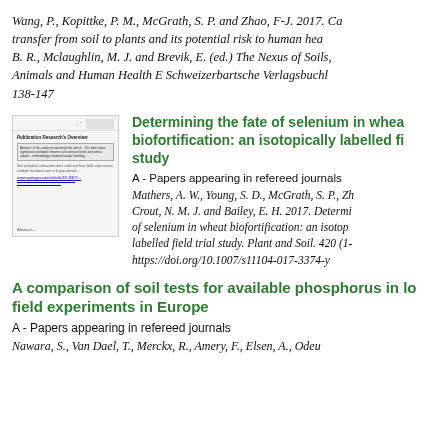Wang, P., Kopittke, P. M., McGrath, S. P. and Zhao, F-J. 2017. Ca transfer from soil to plants and its potential risk to human hea B. R., Mclaughlin, M. J. and Brevik, E. (ed.) The Nexus of Soils, Animals and Human Health E Schweizerbartsche Verlagsbuckh 138-147
[Figure (screenshot): Thumbnail of a research article page showing title, abstract box, links and footer text]
Determining the fate of selenium in wheat biofortification: an isotopically labelled field trial study
A - Papers appearing in refereed journals
Mathers, A. W., Young, S. D., McGrath, S. P., Zh Crout, N. M. J. and Bailey, E. H. 2017. Determi of selenium in wheat biofortification: an isotop labelled field trial study. Plant and Soil. 420 (1- https://doi.org/10.1007/s11104-017-3374-y
A comparison of soil tests for available phosphorus in long field experiments in Europe
A - Papers appearing in refereed journals
Nawara, S., Van Dael, T., Merckx, R., Amery, F., Elsen, A., Odeu